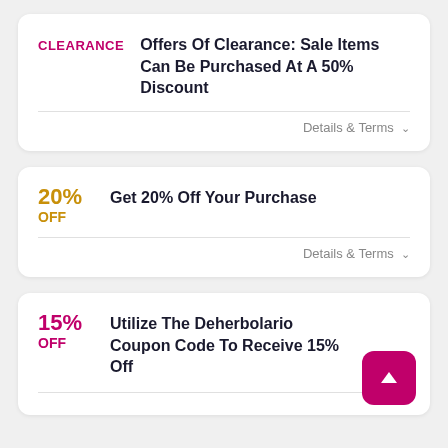CLEARANCE — Offers Of Clearance: Sale Items Can Be Purchased At A 50% Discount
Details & Terms
20% OFF — Get 20% Off Your Purchase
Details & Terms
15% OFF — Utilize The Deherbolario Coupon Code To Receive 15% Off